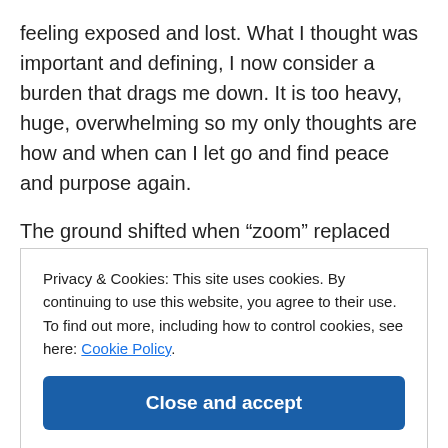feeling exposed and lost. What I thought was important and defining, I now consider a burden that drags me down. It is too heavy, huge, overwhelming so my only thoughts are how and when can I let go and find peace and purpose again.
The ground shifted when “zoom” replaced face to face encounters. How can I sit and see myself, exposed and vulnerable, scrabbling around for words and seeing all
Privacy & Cookies: This site uses cookies. By continuing to use this website, you agree to their use.
To find out more, including how to control cookies, see here: Cookie Policy
Close and accept
am loved for who I am, not for what I do, is the firm